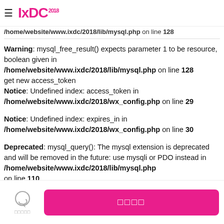IxDC 2018
/home/website/www.ixdc/2018/lib/mysql.php on line 128 (truncated top)
Warning: mysql_free_result() expects parameter 1 to be resource, boolean given in /home/website/www.ixdc/2018/lib/mysql.php on line 128
get new access_token
Notice: Undefined index: access_token in /home/website/www.ixdc/2018/wx_config.php on line 29
Notice: Undefined index: expires_in in /home/website/www.ixdc/2018/wx_config.php on line 30
Deprecated: mysql_query(): The mysql extension is deprecated and will be removed in the future: use mysqli or PDO instead in /home/website/www.ixdc/2018/lib/mysql.php on line 110
chat icon | 00000